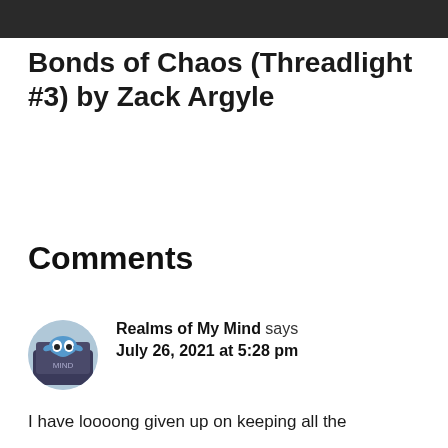[Figure (photo): Dark background image strip at top of page]
Bonds of Chaos (Threadlight #3) by Zack Argyle
Comments
Realms of My Mind says July 26, 2021 at 5:28 pm
I have loooong given up on keeping all the